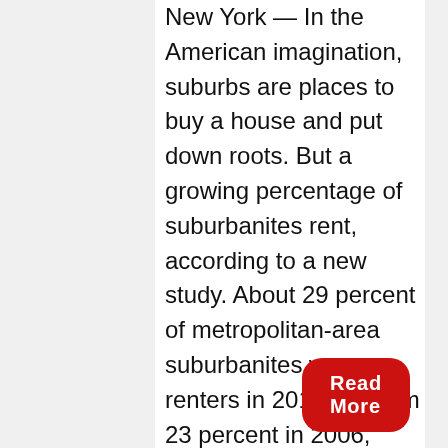New York — In the American imagination, suburbs are places to buy a house and put down roots. But a growing percentage of suburbanites rent, according to a new study. About 29 percent of metropolitan-area suburbanites were renters in 2014, up from 23 percent in 2006, according to a report released Tuesday by New York University's Furman Center real estate think tank and the bank Capital One. The finances of home ownership since the...
Read More